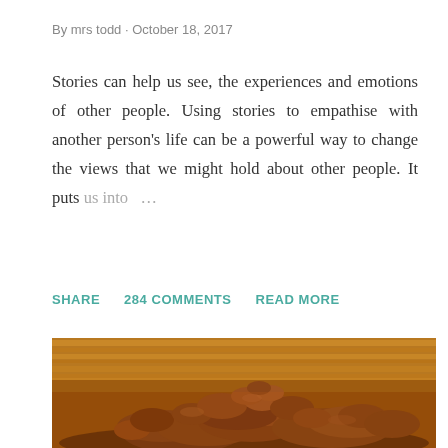By mrs todd · October 18, 2017
Stories can help us see, the experiences and emotions of other people. Using stories to empathise with another person's life can be a powerful way to change the views that we might hold about other people. It puts us into …
SHARE   284 COMMENTS   READ MORE
[Figure (photo): A pile of reddish-brown rocks in an arid landscape with dry golden grass in the background, taken in an Australian outback setting.]